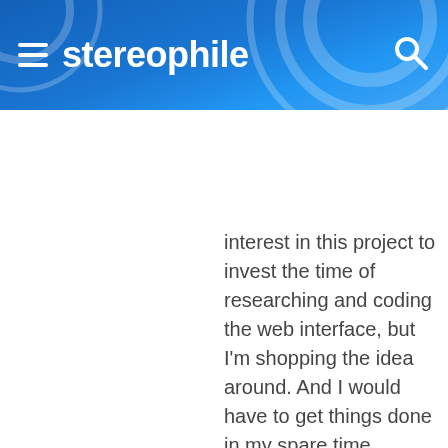stereophile
interest in this project to invest the time of researching and coding the web interface, but I'm shopping the idea around. And I would have to get things done in my spare time.

Either that, or I could set up a Wiki page detailing precise